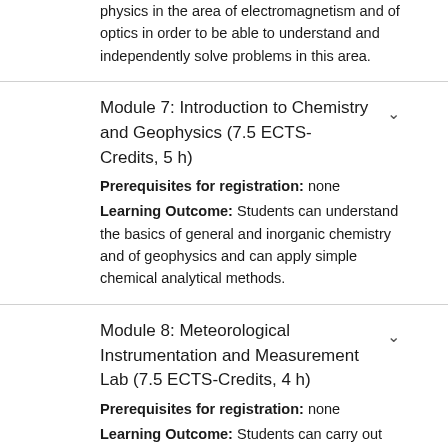physics in the area of electromagnetism and of optics in order to be able to understand and independently solve problems in this area.
Module 7: Introduction to Chemistry and Geophysics (7.5 ECTS-Credits, 5 h)
Prerequisites for registration: none
Learning Outcome: Students can understand the basics of general and inorganic chemistry and of geophysics and can apply simple chemical analytical methods.
Module 8: Meteorological Instrumentation and Measurement Lab (7.5 ECTS-Credits, 4 h)
Prerequisites for registration: none
Learning Outcome: Students can carry out and document basic experiments in the lab and in the field. Students have an overview of the main content of the study programme and of its later development.
Module 9: Atmospheric Radiation, Micrometeorology